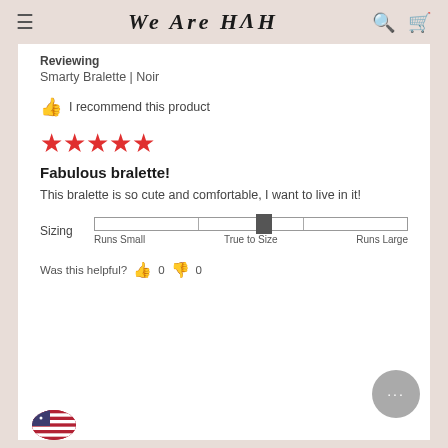We Are HAH
Reviewing
Smarty Bralette | Noir
👍 I recommend this product
[Figure (other): Five red stars rating]
Fabulous bralette!
This bralette is so cute and comfortable, I want to live in it!
Sizing — slider indicator at True to Size. Labels: Runs Small, True to Size, Runs Large
Was this helpful? 👍 0 👎 0